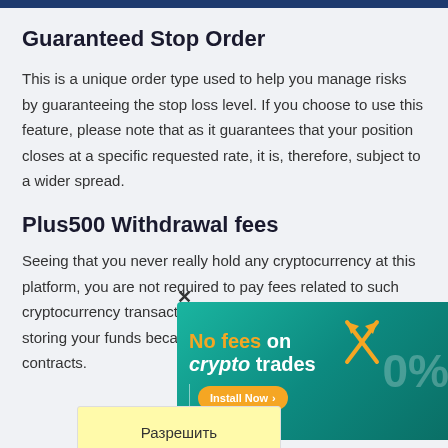Guaranteed Stop Order
This is a unique order type used to help you manage risks by guaranteeing the stop loss level. If you choose to use this feature, please note that as it guarantees that your position closes at a specific requested rate, it is, therefore, subject to a wider spread.
Plus500 Withdrawal fees
Seeing that you never really hold any cryptocurrency at this platform, you are not required to pay fees related to such cryptocurrency transactions. There is no transfer fee in storing your funds because all of these are kept as contracts.
[Figure (infographic): Advertisement banner: 'No fees on crypto trades' with orange arrows and 0% graphic, Install Now button, with a yellow popup saying 'Разрешить' (Allow) and a close X button]